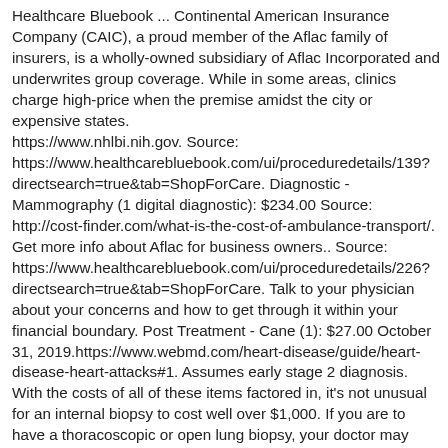Healthcare Bluebook ... Continental American Insurance Company (CAIC), a proud member of the Aflac family of insurers, is a wholly-owned subsidiary of Aflac Incorporated and underwrites group coverage. While in some areas, clinics charge high-price when the premise amidst the city or expensive states. https://www.nhlbi.nih.gov. Source: https://www.healthcarebluebook.com/ui/proceduredetails/139?directsearch=true&tab=ShopForCare. Diagnostic - Mammography (1 digital diagnostic): $234.00 Source: http://cost-finder.com/what-is-the-cost-of-ambulance-transport/. Get more info about Aflac for business owners.. Source: https://www.healthcarebluebook.com/ui/proceduredetails/226?directsearch=true&tab=ShopForCare. Talk to your physician about your concerns and how to get through it within your financial boundary. Post Treatment - Cane (1): $27.00 October 31, 2019.https://www.webmd.com/heart-disease/guide/heart-disease-heart-attacks#1. Assumes early stage 2 diagnosis. With the costs of all of these items factored in, it's not unusual for an internal biopsy to cost well over $1,000. If you are to have a thoracoscopic or open lung biopsy, your doctor may discuss with you the possibility of more extensive surgery being performed during the procedur... http://www.mayoclinic.org/diseases-conditions/asthma-attack/diagnosis-treatment/treatment/txc-20201042